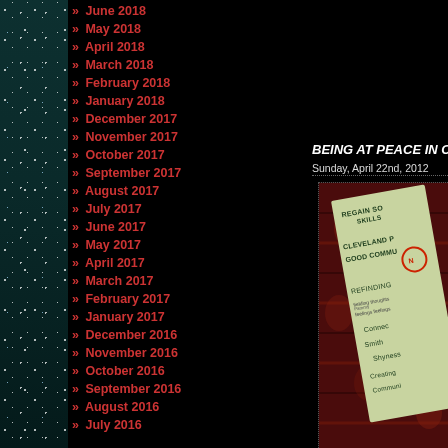» June 2018
» May 2018
» April 2018
» March 2018
» February 2018
» January 2018
» December 2017
» November 2017
» October 2017
» September 2017
» August 2017
» July 2017
» June 2017
» May 2017
» April 2017
» March 2017
» February 2017
» January 2017
» December 2016
» November 2016
» October 2016
» September 2016
» August 2016
» July 2016
BEING AT PEACE IN C
Sunday, April 22nd, 2012
[Figure (photo): Photo of handwritten notes on green paper placed on a patterned red/dark carpet, with text including REGAIN SOCIAL SKILLS, CLEVELAND, GOOD COMMUNITY, REFINDING, CONNECTING, SMITH, SHYNESS, CREATING, COMMUNITY]